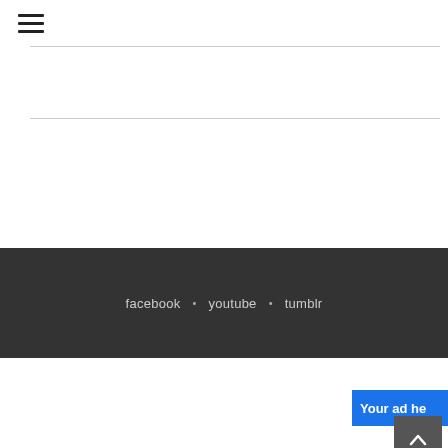≡ (hamburger menu icon)
facebook • youtube • tumblr
Annonce
http://adp13a.com/redirect?sid=85150
[Figure (screenshot): Blue 'Your ad he' badge with scroll-to-top button]